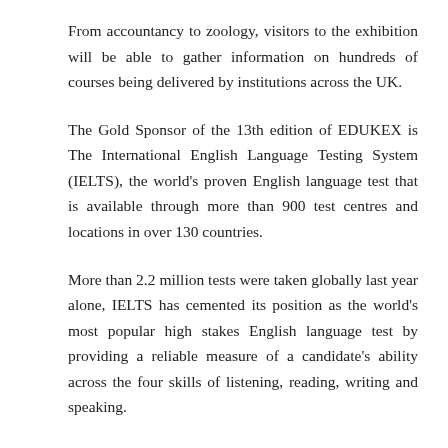From accountancy to zoology, visitors to the exhibition will be able to gather information on hundreds of courses being delivered by institutions across the UK.
The Gold Sponsor of the 13th edition of EDUKEX is The International English Language Testing System (IELTS), the world's proven English language test that is available through more than 900 test centres and locations in over 130 countries.
More than 2.2 million tests were taken globally last year alone, IELTS has cemented its position as the world's most popular high stakes English language test by providing a reliable measure of a candidate's ability across the four skills of listening, reading, writing and speaking.